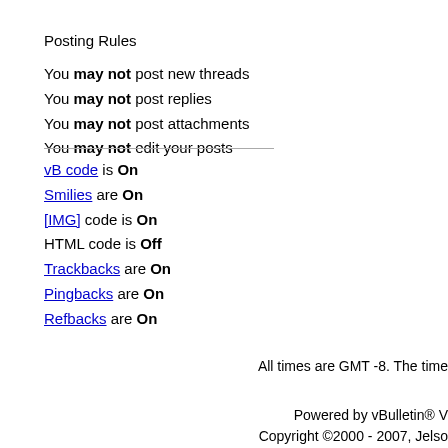Posting Rules
You may not post new threads
You may not post replies
You may not post attachments
You may not edit your posts
vB code is On
Smilies are On
[IMG] code is On
HTML code is Off
Trackbacks are On
Pingbacks are On
Refbacks are On
All times are GMT -8. The time
Powered by vBulletin® V
Copyright ©2000 - 2007, Jelso